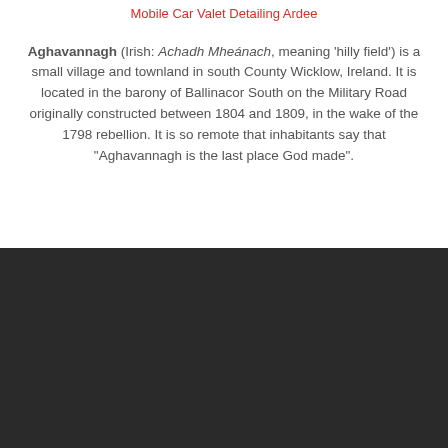Mobile Car Valet Detailing Ardee
Aghavannagh (Irish: Achadh Mheánach, meaning 'hilly field') is a small village and townland in south County Wicklow, Ireland. It is located in the barony of Ballinacor South on the Military Road originally constructed between 1804 and 1809, in the wake of the 1798 rebellion. It is so remote that inhabitants say that "Aghavannagh is the last place God made".
[Figure (logo): AutoLuxe logo: red triangle/letter A above a blue car illustration, with the word AUTOLUXE in red below]
AUTOLUXE HAND CAR WASH
[Figure (illustration): Green circular phone/call button icon in bottom left corner]